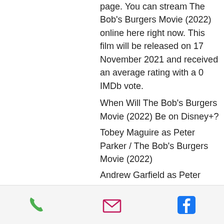page. You can stream The Bob's Burgers Movie (2022) online here right now. This film will be released on 17 November 2021 and received an average rating with a 0 IMDb vote.
When Will The Bob's Burgers Movie (2022) Be on Disney+?
Tobey Maguire as Peter Parker / The Bob's Burgers Movie (2022)
Andrew Garfield as Peter Parker / The Bob's Burgers Movie (2022)
Zendaya as MJ: Parker’s classmate and girlfriend
Benedict Cumberbatch as Dr. Stephen Strange
Jacob Batalon as Ned Leeds
Jon Favreau as Harold “Happy” Hogan
Marisa Tomei as May Parker
J. B. Smoove as Julius Dell
phone | email | facebook